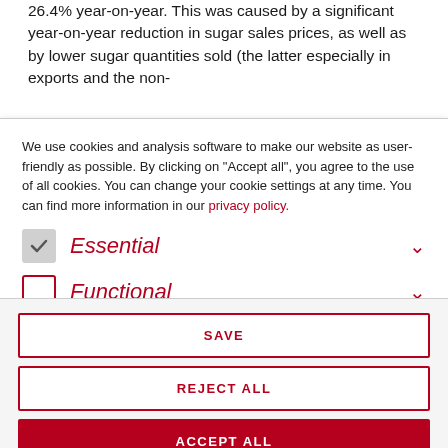26.4% year-on-year. This was caused by a significant year-on-year reduction in sugar sales prices, as well as by lower sugar quantities sold (the latter especially in exports and the non-
We use cookies and analysis software to make our website as user-friendly as possible. By clicking on "Accept all", you agree to the use of all cookies. You can change your cookie settings at any time. You can find more information in our privacy policy.
Essential
Functional
SAVE
REJECT ALL
ACCEPT ALL